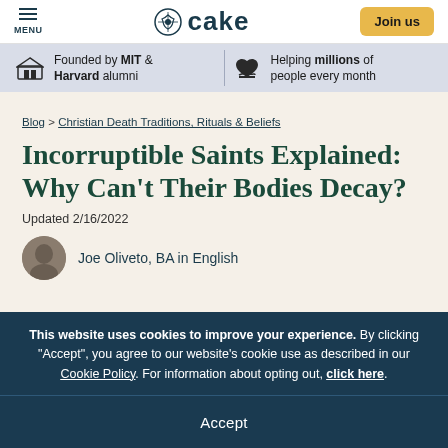MENU | cake | Join us
Founded by MIT & Harvard alumni | Helping millions of people every month
Blog > Christian Death Traditions, Rituals & Beliefs
Incorruptible Saints Explained: Why Can't Their Bodies Decay?
Updated 2/16/2022
Joe Oliveto, BA in English
This website uses cookies to improve your experience. By clicking "Accept", you agree to our website's cookie use as described in our Cookie Policy. For information about opting out, click here.
Accept